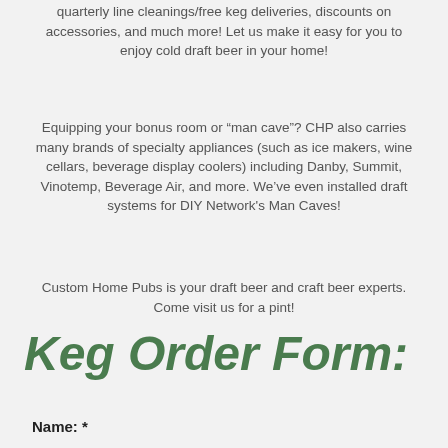quarterly line cleanings/free keg deliveries, discounts on accessories, and much more! Let us make it easy for you to enjoy cold draft beer in your home!
Equipping your bonus room or “man cave”? CHP also carries many brands of specialty appliances (such as ice makers, wine cellars, beverage display coolers) including Danby, Summit, Vinotemp, Beverage Air, and more. We’ve even installed draft systems for DIY Network's Man Caves!
Custom Home Pubs is your draft beer and craft beer experts. Come visit us for a pint!
Keg Order Form:
Name: *